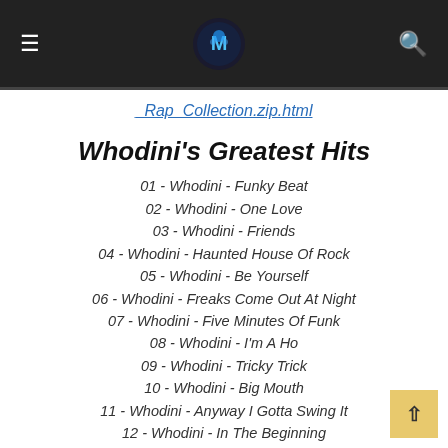≡  [logo]  🔍
_Rap_Collection.zip.html
Whodini's Greatest Hits
01 - Whodini - Funky Beat
02 - Whodini - One Love
03 - Whodini - Friends
04 - Whodini - Haunted House Of Rock
05 - Whodini - Be Yourself
06 - Whodini - Freaks Come Out At Night
07 - Whodini - Five Minutes Of Funk
08 - Whodini - I'm A Ho
09 - Whodini - Tricky Trick
10 - Whodini - Big Mouth
11 - Whodini - Anyway I Gotta Swing It
12 - Whodini - In The Beginning
13 - Whodini - Magic's Wand
14 - Whodini - Escape (I need a brake)